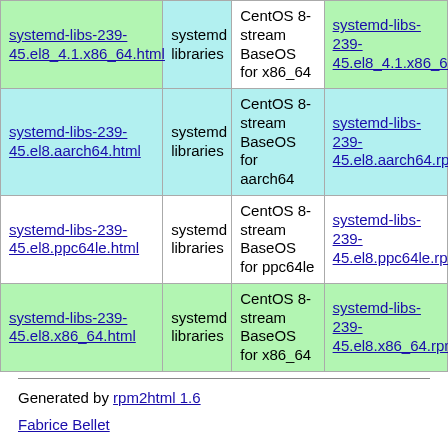| systemd-libs-239-45.el8_4.1.x86_64.html | systemd libraries | CentOS 8-stream BaseOS for x86_64 | systemd-libs-239-45.el8_4.1.x86_64.rpm |
| systemd-libs-239-45.el8.aarch64.html | systemd libraries | CentOS 8-stream BaseOS for aarch64 | systemd-libs-239-45.el8.aarch64.rpm |
| systemd-libs-239-45.el8.ppc64le.html | systemd libraries | CentOS 8-stream BaseOS for ppc64le | systemd-libs-239-45.el8.ppc64le.rpm |
| systemd-libs-239-45.el8.x86_64.html | systemd libraries | CentOS 8-stream BaseOS for x86_64 | systemd-libs-239-45.el8.x86_64.rpm |
Generated by rpm2html 1.6
Fabrice Bellet